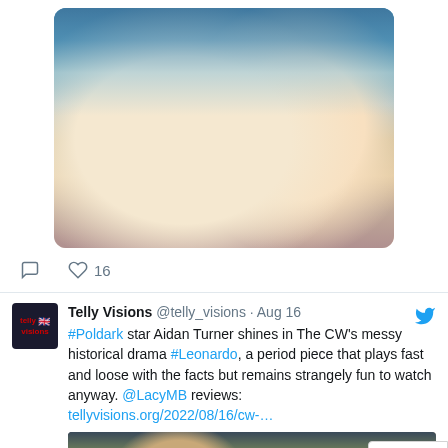[Figure (photo): Concert photo showing a young man in a white t-shirt and a woman in a pink/yellow outfit at what appears to be an outdoor music festival with blurred crowd and stage lighting in background]
16 (likes)
[Figure (logo): Telly Visions logo - text logo with Union Jack flag icon]
Telly Visions @telly_visions · Aug 16
#Poldark star Aidan Turner shines in The CW's messy historical drama #Leonardo, a period piece that plays fast and loose with the facts but remains strangely fun to watch anyway. @LacyMB reviews:
tellyvisions.org/2022/08/16/cw-…
[Figure (photo): Bottom portion of article preview image showing a dark-haired person against a stone/mural background, partially visible]